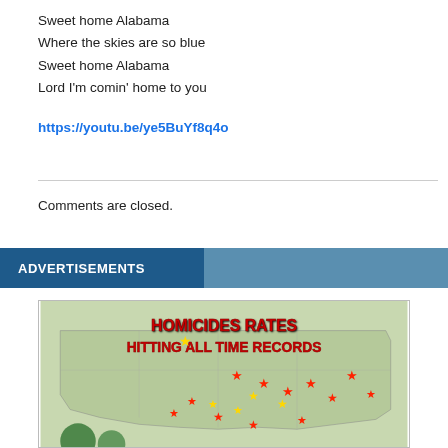Sweet home Alabama
Where the skies are so blue
Sweet home Alabama
Lord I'm comin' home to you
https://youtu.be/ye5BuYf8q4o
Comments are closed.
ADVERTISEMENTS
[Figure (map): Map of the United States with red and yellow star markers and the text 'HOMICIDES RATES HITTING ALL TIME RECORDS' overlaid in red dripping font]